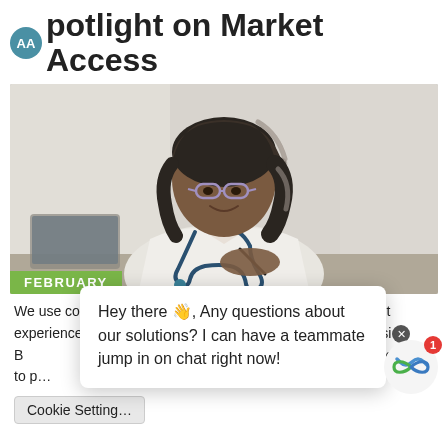Spotlight on Market Access
[Figure (photo): A Black female doctor wearing glasses and a white coat with a stethoscope around her neck, writing or working at a desk, with a green 'FEBRUARY' badge overlay at the bottom left of the image.]
We use cookies on our website to give you the most relevant experience by remembering your preferences and repeat visi[X]B... the use of ALL the co... Settings" to p...
Hey there 👋, Any questions about our solutions? I can have a teammate jump in on chat right now!
Cookie Setting...